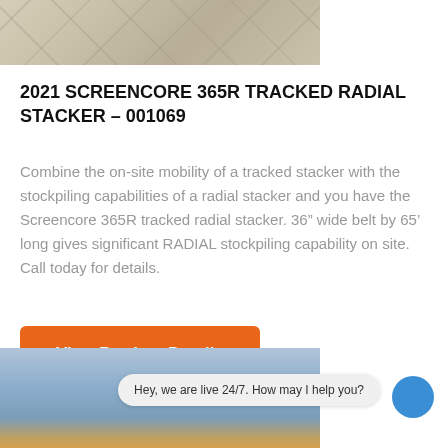[Figure (photo): Partial photo of a stone tile floor surface in beige/tan tones]
2021 SCREENCORE 365R TRACKED RADIAL STACKER – 001069
Combine the on-site mobility of a tracked stacker with the stockpiling capabilities of a radial stacker and you have the Screencore 365R tracked radial stacker. 36" wide belt by 65' long gives significant RADIAL stockpiling capability on site. Call today for details.
View Product Details
[Figure (photo): Partial photo of clouds in sky with orange machinery visible at bottom]
Hey, we are live 24/7. How may I help you?